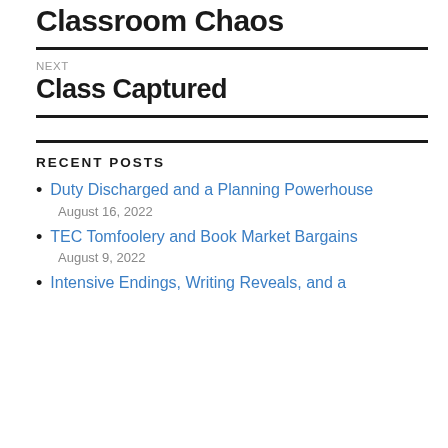Classroom Chaos
NEXT
Class Captured
RECENT POSTS
Duty Discharged and a Planning Powerhouse
August 16, 2022
TEC Tomfoolery and Book Market Bargains
August 9, 2022
Intensive Endings, Writing Reveals, and a